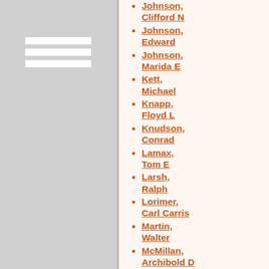Johnson, Clifford N
Johnson, Edward
Johnson, Marida E
Kett, Michael
Knapp, Floyd L
Knudson, Conrad
Lamax, Tom E
Larsh, Ralph
Lorimer, Carl Carris
Martin, Walter
McMillan, Archibold D
Mooney, Charles M
Morgan,